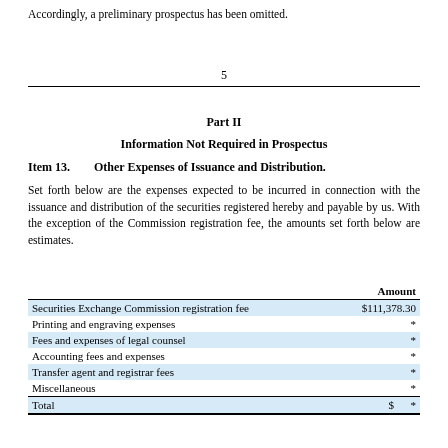Accordingly, a preliminary prospectus has been omitted.
5
Part II
Information Not Required in Prospectus
Item 13.     Other Expenses of Issuance and Distribution.
Set forth below are the expenses expected to be incurred in connection with the issuance and distribution of the securities registered hereby and payable by us. With the exception of the Commission registration fee, the amounts set forth below are estimates.
|  | Amount |
| --- | --- |
| Securities Exchange Commission registration fee | $111,378.30 |
| Printing and engraving expenses | * |
| Fees and expenses of legal counsel | * |
| Accounting fees and expenses | * |
| Transfer agent and registrar fees | * |
| Miscellaneous | * |
| Total | $ * |